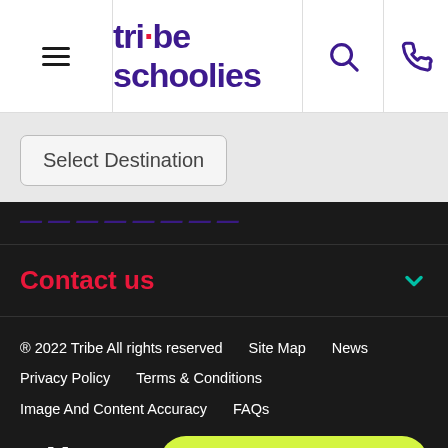tribe schoolies — navigation header with menu, search, and phone icons
Select Destination
[partially visible italic purple text]
Contact us
® 2022 Tribe All rights reserved   Site Map   News   Privacy Policy   Terms & Conditions   Image And Content Accuracy   FAQs
[Figure (logo): tribe logo in white text with red dot on i]
Schoolies Chat: Available